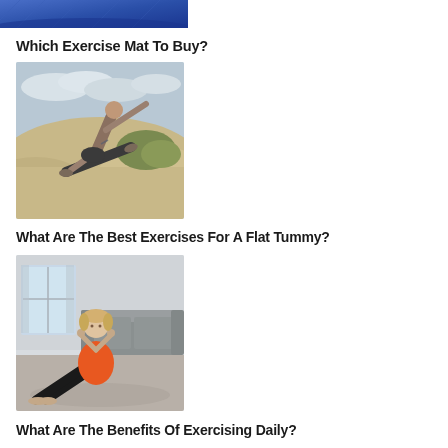[Figure (photo): Partial view of a blue exercise/yoga mat from above]
Which Exercise Mat To Buy?
[Figure (photo): Shirtless man performing a side plank exercise on a beach with sand dunes in background]
What Are The Best Exercises For A Flat Tummy?
[Figure (photo): Woman in orange top and black leggings doing sit-up/crunch exercise on floor near a sofa indoors]
What Are The Benefits Of Exercising Daily?